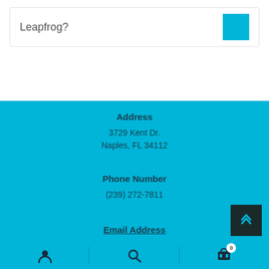Leapfrog?
Address
3729 Kent Dr.
Naples, FL 34112
Phone Number
(239) 272-7811
Email Address
user icon | search icon | cart icon (0)